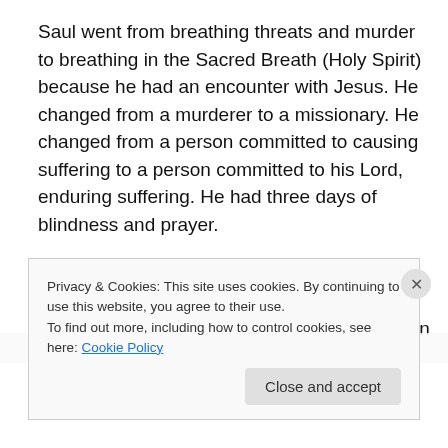Saul went from breathing threats and murder to breathing in the Sacred Breath (Holy Spirit) because he had an encounter with Jesus. He changed from a murderer to a missionary. He changed from a person committed to causing suffering to a person committed to his Lord, enduring suffering. He had three days of blindness and prayer.
Would you be willing to spend three days in prayer to be a life-changing missionary like Paul? Even after his conversion experience on the Damascus road, Saul was
Privacy & Cookies: This site uses cookies. By continuing to use this website, you agree to their use.
To find out more, including how to control cookies, see here: Cookie Policy